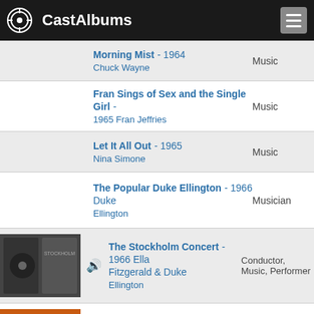CastAlbums
Morning Mist - 1964 Chuck Wayne | Music
Fran Sings of Sex and the Single Girl - 1965 Fran Jeffries | Music
Let It All Out - 1965 Nina Simone | Music
The Popular Duke Ellington - 1966 Duke Ellington | Musician
The Stockholm Concert - 1966 Ella Fitzgerald & Duke Ellington | Conductor, Music, Performer
Francis A. & Edward | Musician